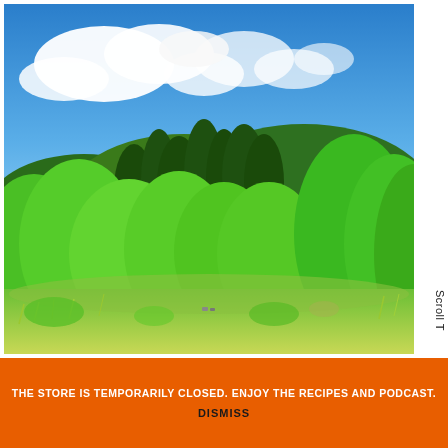[Figure (photo): Outdoor landscape photo showing a lush green forest with mixed deciduous and coniferous trees under a bright blue sky with white clouds. A green meadow with tall grass is in the foreground.]
Scroll T
THE STORE IS TEMPORARILY CLOSED. ENJOY THE RECIPES AND PODCAST.
DISMISS